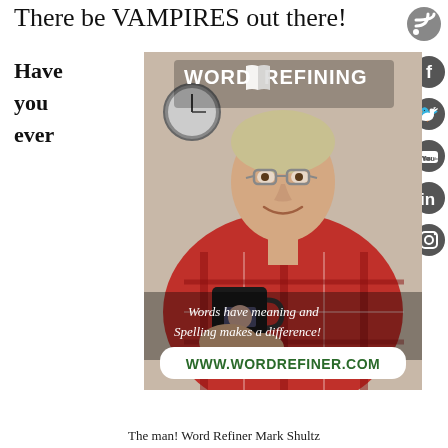There be VAMPIRES out there!
Have
you
ever
[Figure (photo): Photo of man (Word Refiner Mark Shultz) in red plaid shirt holding a black mug, with Word Refining logo overlay, text 'Words have meaning and Spelling makes a difference!' and 'WWW.WORDREFINER.COM' at bottom. Social media icons (RSS, Facebook, Twitter, YouTube, LinkedIn, Instagram) on the right side.]
The man! Word Refiner Mark Shultz